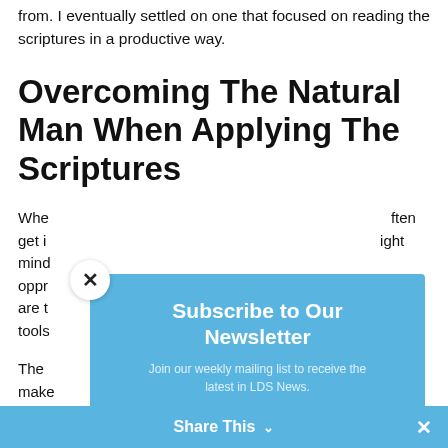from. I eventually settled on one that focused on reading the scriptures in a productive way.
Overcoming The Natural Man When Applying The Scriptures
When ... often get i... right mind... oppr... res are t... tools...
[Figure (screenshot): Newsletter subscription modal popup with blue header section reading 'Subscribe to Our Newsletter' and subtitle 'Join our weekly mailing list to receive the latest in LDS News.' with dark bottom section containing email input field and subscribe button. A close (x) button appears at the top-left corner of the modal.]
The ... not to make... be bett... and ... us
Share This